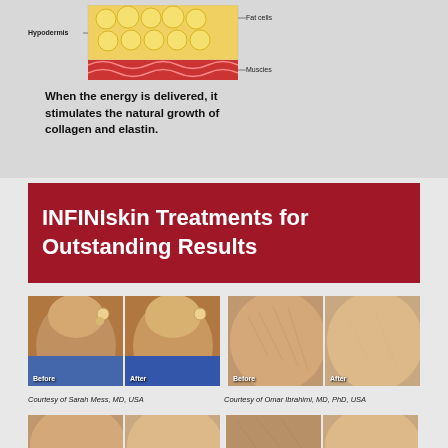[Figure (illustration): Cross-section diagram of skin layers showing Hypodermis with fat cells and muscles labeled]
When the energy is delivered, it stimulates the natural growth of collagen and elastin.
INFINIskin Treatments for Outstanding Results
[Figure (photo): Before and after photos of face/jaw area treatment. Courtesy of Sarah Mess, MD, USA]
Courtesy of Sarah Mess, MD, USA
[Figure (photo): Before and after photos of cheek/skin area treatment. Courtesy of Omar Ibrahimi, MD, PhD, USA]
Courtesy of Omar Ibrahimi, MD, PhD, USA
[Figure (photo): Before and after photos of facial skin treatment, bottom row]